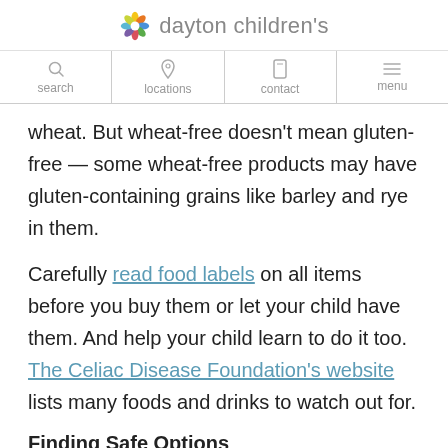dayton children's
wheat. But wheat-free doesn't mean gluten-free — some wheat-free products may have gluten-containing grains like barley and rye in them.
Carefully read food labels on all items before you buy them or let your child have them. And help your child learn to do it too. The Celiac Disease Foundation's website lists many foods and drinks to watch out for.
Finding Safe Options
Here are some tips to remember when choosing foods: